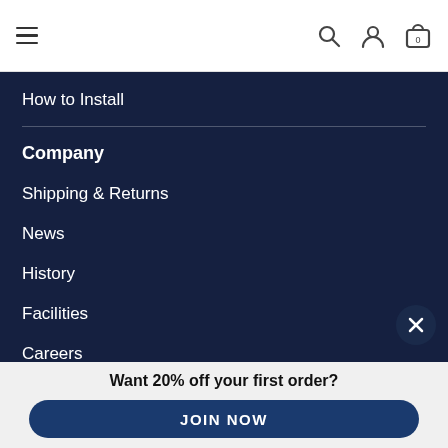[Figure (screenshot): Navigation top bar with hamburger menu, search icon, user icon, and shopping cart icon with badge '0']
How to Install
Company
Shipping & Returns
News
History
Facilities
Careers
Board
Want 20% off your first order?
JOIN NOW